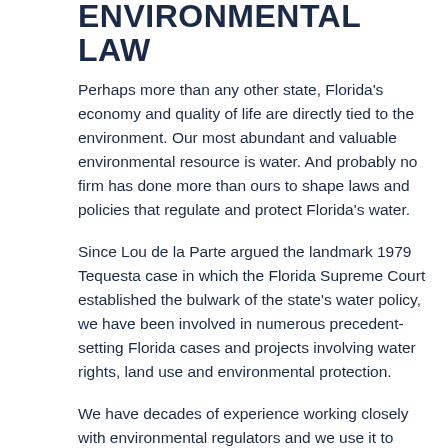ENVIRONMENTAL LAW
Perhaps more than any other state, Florida's economy and quality of life are directly tied to the environment. Our most abundant and valuable environmental resource is water. And probably no firm has done more than ours to shape laws and policies that regulate and protect Florida's water.
Since Lou de la Parte argued the landmark 1979 Tequesta case in which the Florida Supreme Court established the bulwark of the state's water policy, we have been involved in numerous precedent-setting Florida cases and projects involving water rights, land use and environmental protection.
We have decades of experience working closely with environmental regulators and we use it to